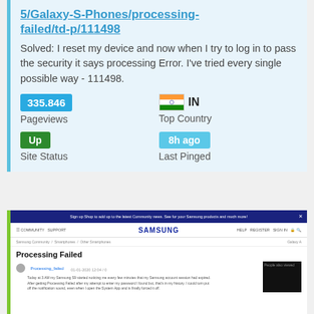5/Galaxy-S-Phones/processing-failed/td-p/111498
Solved: I reset my device and now when I try to log in to pass the security it says processing Error. I've tried every single possible way - 111498.
335,846 Pageviews
IN Top Country
Up Site Status
8h ago Last Pinged
[Figure (screenshot): Screenshot of Samsung Community page showing 'Processing Failed' forum post with navigation bar, breadcrumb, post title, avatar, username, and a dark image on the right.]